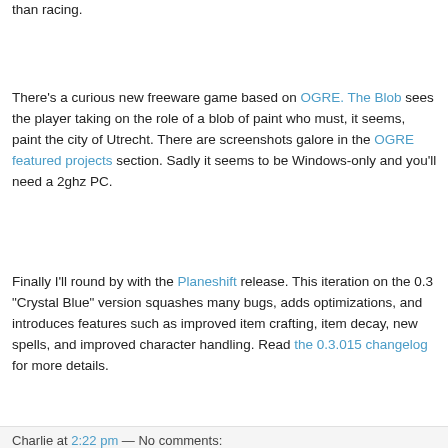than racing.
There's a curious new freeware game based on OGRE. The Blob sees the player taking on the role of a blob of paint who must, it seems, paint the city of Utrecht. There are screenshots galore in the OGRE featured projects section. Sadly it seems to be Windows-only and you'll need a 2ghz PC.
Finally I'll round by with the Planeshift release. This iteration on the 0.3 "Crystal Blue" version squashes many bugs, adds optimizations, and introduces features such as improved item crafting, item decay, new spells, and improved character handling. Read the 0.3.015 changelog for more details.
Charlie at 2:22 pm — No comments: